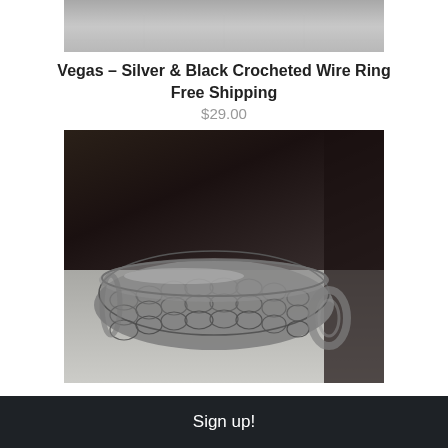[Figure (photo): Top partial photo of a crocheted wire ring, showing a grey textured surface, cropped at the bottom.]
Vegas – Silver & Black Crocheted Wire Ring Free Shipping
$29.00
[Figure (photo): Close-up photo of a wide silver and black crocheted wire cuff bracelet/ring placed on a light fabric surface with a dark blurred background.]
Sign up!